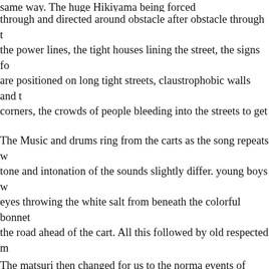same way. The huge Hikiyama being forced
through and directed around obstacle after obstacle through the power lines, the tight houses lining the street, the signs for are positioned on long tight streets, claustrophobic walls and corners, the crowds of people bleeding into the streets to get giants roaming. The two hundred year old paper mache and lacquer wooden frames. Being pushed from the inside in a rocking motion atop, they direct the changes in direction to avoid hitting the power lines. The tightness and timing is impossible to describe
The Music and drums ring from the carts as the song repeats with tone and intonation of the sounds slightly differ. young boys with eyes throwing the white salt from beneath the colorful bonnets the road ahead of the cart. All this followed by old respected men community closely following the Shrine that is housed in the Shrine their Hikiyama represents. The shrines themselves were very old gold and lacquer finishes shining in the sunshine of a perfect fall day stopped and cleared to relieve the participants and viewers standing in the cold rain, it felt as though the weather was ordered one would order cases of sake or beer for a celebration. perfect
The matsuri then changed for us to the norma events of shopping